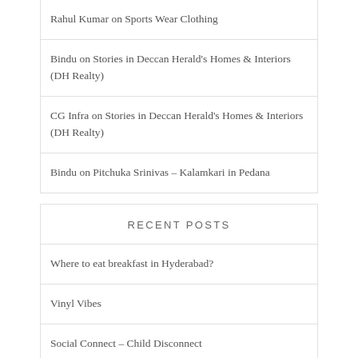Rahul Kumar on Sports Wear Clothing
Bindu on Stories in Deccan Herald's Homes & Interiors (DH Realty)
CG Infra on Stories in Deccan Herald's Homes & Interiors (DH Realty)
Bindu on Pitchuka Srinivas – Kalamkari in Pedana
RECENT POSTS
Where to eat breakfast in Hyderabad?
Vinyl Vibes
Social Connect – Child Disconnect